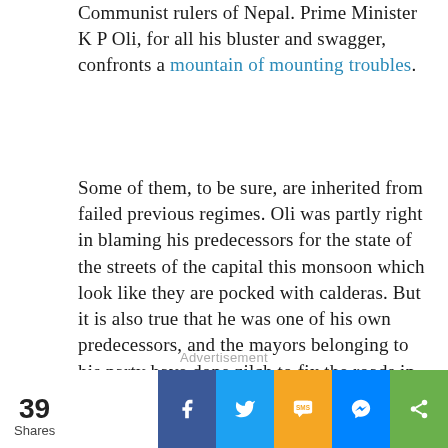Communist rulers of Nepal. Prime Minister K P Oli, for all his bluster and swagger, confronts a mountain of mounting troubles.
Some of them, to be sure, are inherited from failed previous regimes. Oli was partly right in blaming his predecessors for the state of the streets of the capital this monsoon which look like they are pocked with calderas. But it is also true that he was one of his own predecessors, and the mayors belonging to his party have done zilch to fix the roads in the year since they assumed office.
Advertisement
39 Shares